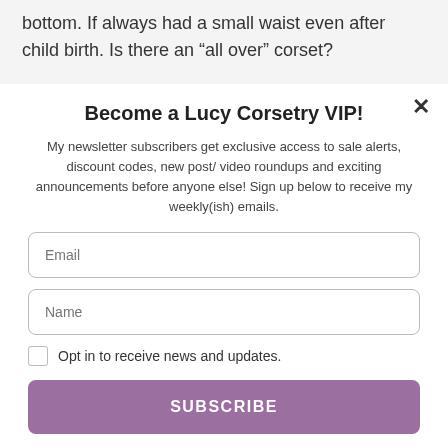bottom. If always had a small waist even after child birth. Is there an “all over” corset?
Become a Lucy Corsetry VIP!
My newsletter subscribers get exclusive access to sale alerts, discount codes, new post/ video roundups and exciting announcements before anyone else! Sign up below to receive my weekly(ish) emails.
Email
Name
Opt in to receive news and updates.
SUBSCRIBE